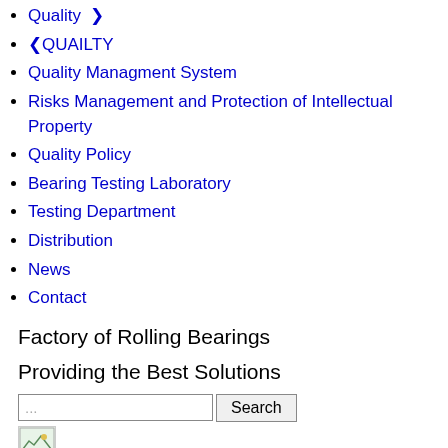Quality ❯
❮QUAILTY
Quality Managment System
Risks Management and Protection of Intellectual Property
Quality Policy
Bearing Testing Laboratory
Testing Department
Distribution
News
Contact
Factory of Rolling Bearings
Providing the Best Solutions
[Figure (other): Search bar with text field and Search button, followed by a broken image placeholder]
Years of Success
Experience in Bearing
Production
[Figure (other): Broken image placeholder at bottom of page]